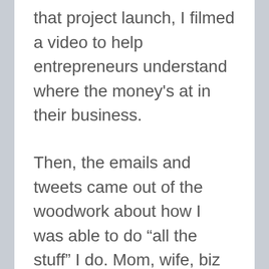that project launch, I filmed a video to help entrepreneurs understand where the money's at in their business.
Then, the emails and tweets came out of the woodwork about how I was able to do “all the stuff” I do. Mom, wife, biz owner, coach & mentor, writer, performer, etc. Amid the encouragement and positive vibes people